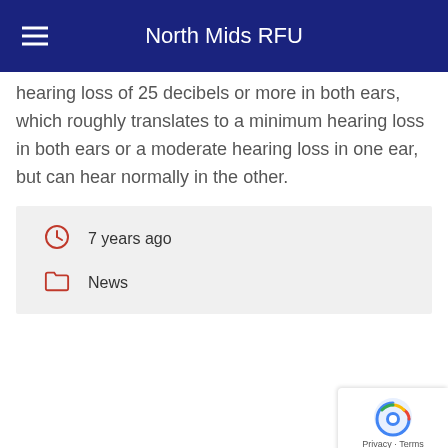North Mids RFU
hearing loss of 25 decibels or more in both ears, which roughly translates to a minimum hearing loss in both ears or a moderate hearing loss in one ear, but can hear normally in the other.
7 years ago
News